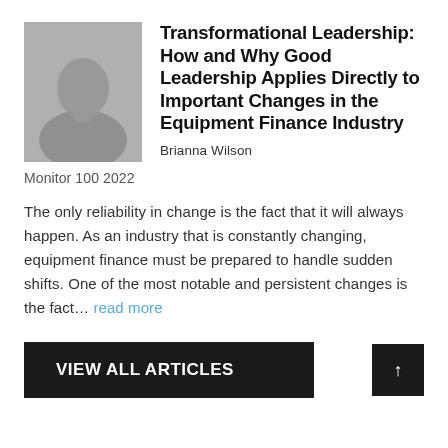[Figure (photo): Gray silhouette placeholder avatar image of a person]
Transformational Leadership: How and Why Good Leadership Applies Directly to Important Changes in the Equipment Finance Industry
Brianna Wilson
Monitor 100 2022
The only reliability in change is the fact that it will always happen. As an industry that is constantly changing, equipment finance must be prepared to handle sudden shifts. One of the most notable and persistent changes is the fact... read more
VIEW ALL ARTICLES
↑